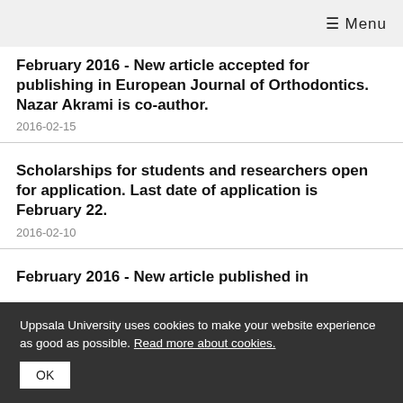≡ Menu
February 2016 - New article accepted for publishing in European Journal of Orthodontics. Nazar Akrami is co-author.
2016-02-15
Scholarships for students and researchers open for application. Last date of application is February 22.
2016-02-10
February 2016 - New article published in
Uppsala University uses cookies to make your website experience as good as possible. Read more about cookies.